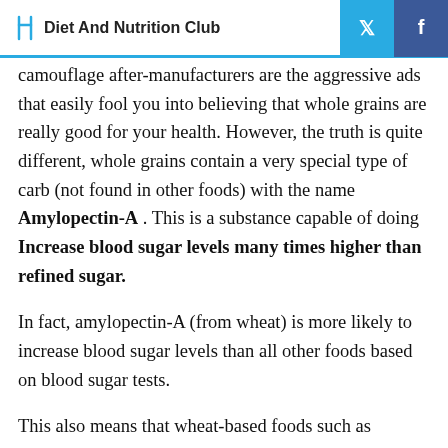Diet And Nutrition Club
camouflage after-manufacturers are the aggressive ads that easily fool you into believing that whole grains are really good for your health. However, the truth is quite different, whole grains contain a very special type of carb (not found in other foods) with the name Amylopectin-A . This is a substance capable of doing Increase blood sugar levels many times higher than refined sugar.
In fact, amylopectin-A (from wheat) is more likely to increase blood sugar levels than all other foods based on blood sugar tests.
This also means that wheat-based foods such as